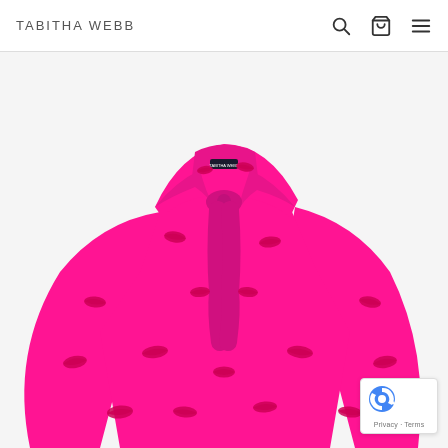TABITHA WEBB
[Figure (photo): Hot pink blouse with red lip print pattern and large pussy-bow tie at neckline, long sleeves, displayed on a headless mannequin. The garment has a Tabitha Webb label visible at the neck.]
Privacy · Terms